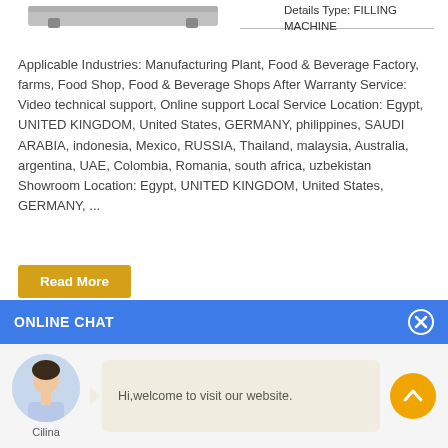[Figure (photo): Partial view of industrial filling machine at top of page]
Details Type: FILLING MACHINE Applicable Industries: Manufacturing Plant, Food & Beverage Factory, farms, Food Shop, Food & Beverage Shops After Warranty Service: Video technical support, Online support Local Service Location: Egypt, UNITED KINGDOM, United States, GERMANY, philippines, SAUDI ARABIA, indonesia, Mexico, RUSSIA, Thailand, malaysia, Australia, argentina, UAE, Colombia, Romania, south africa, uzbekistan Showroom Location: Egypt, UNITED KINGDOM, United States, GERMANY, ...
Read More
ONLINE CHAT
[Figure (photo): Avatar photo of chat agent named Cilina]
Hi,welcome to visit our website.
Cilina